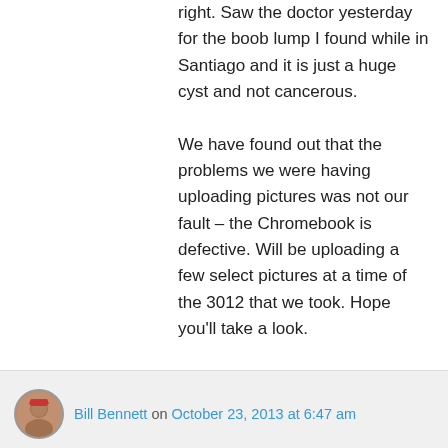right. Saw the doctor yesterday for the boob lump I found while in Santiago and it is just a huge cyst and not cancerous.
We have found out that the problems we were having uploading pictures was not our fault – the Chromebook is defective. Will be uploading a few select pictures at a time of the 3012 that we took. Hope you'll take a look.
Have a very safe trip and be aware at all times!!!
Lynda and Dale
★ Like
Bill Bennett on October 23, 2013 at 6:47 am
Hi Lynda –
Welcome back! I hope you and Dale are